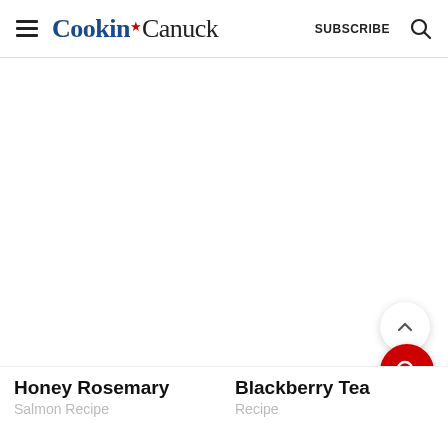Cookin Canuck  SUBSCRIBE
[Figure (screenshot): White blank content area in the middle of the page]
Honey Rosemary
Salmon Recipe
Blackberry Tea
Recipe